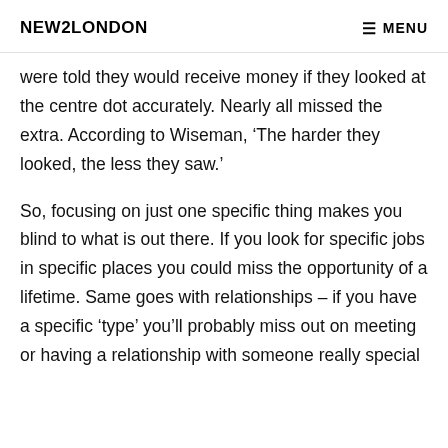NEW2LONDON   MENU
were told they would receive money if they looked at the centre dot accurately. Nearly all missed the extra. According to Wiseman, ‘The harder they looked, the less they saw.’
So, focusing on just one specific thing makes you blind to what is out there. If you look for specific jobs in specific places you could miss the opportunity of a lifetime. Same goes with relationships – if you have a specific ‘type’ you’ll probably miss out on meeting or having a relationship with someone really special